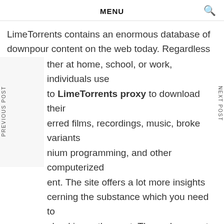MENU
LimeTorrents contains an enormous database of downpour content on the web today. Regardless of ther at home, school, or work, individuals use to LimeTorrents proxy to download their erred films, recordings, music, broke variants nium programming, and other computerized ent. The site offers a lot more insights cerning the substance which you need to nload is worth or not. These documents like have wellbeing meter which causes you to forestall any potential hazard before you download it to your gadget.
Zooqle – Best Torrent Games WebSite